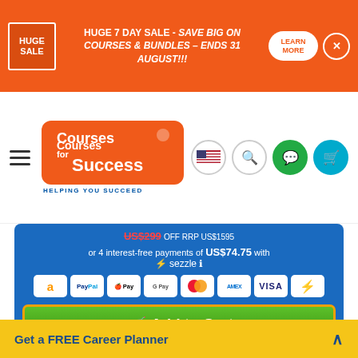HUGE 7 DAY SALE - SAVE BIG ON COURSES & BUNDLES – ENDS 31 AUGUST!!! LEARN MORE
[Figure (logo): Courses for Success logo with tagline HELPING YOU SUCCEED]
or 4 interest-free payments of US$74.75 with sezzle
[Figure (infographic): Payment method icons: Amazon, PayPal, Apple Pay, Google Pay, Mastercard, Amex, Visa, Sezzle]
Add to Cart
Get Info Pack
Get a FREE Career Planner